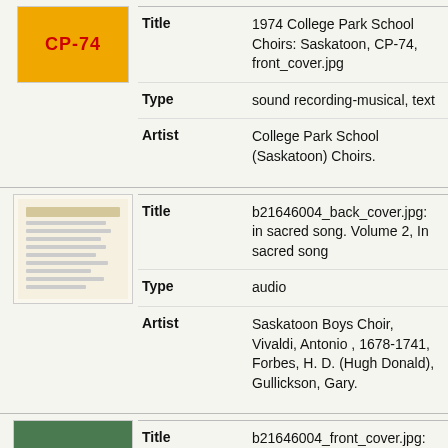[Figure (photo): CP-74 album cover thumbnail, orange/yellow background with red CP-74 text]
| Title | 1974 College Park School Choirs: Saskatoon, CP-74, front_cover.jpg |
| Type | sound recording-musical, text |
| Artist | College Park School (Saskatoon) Choirs. |
[Figure (photo): In sacred song Volume 2 back cover thumbnail, cream/aged paper with text lines]
| Title | b21646004_back_cover.jpg: in sacred song. Volume 2, In sacred song |
| Type | audio |
| Artist | Saskatoon Boys Choir, Vivaldi, Antonio , 1678-1741, Forbes, H. D. (Hugh Donald), Gullickson, Gary. |
[Figure (photo): In sacred song Volume 2 front cover thumbnail, green/nature scene]
| Title | b21646004_front_cover.jpg: in sacred song. Volume 2, In sacred song |
| Type | audio |